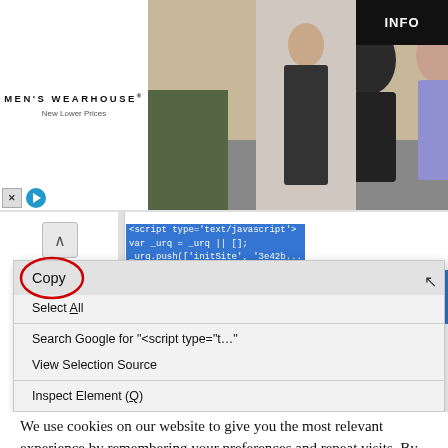[Figure (screenshot): Men's Wearhouse advertisement banner with couple in formal wear and man in suit, INFO button]
[Figure (screenshot): Browser view source screenshot showing JavaScript code selected (highlighted in blue) with right-click context menu open showing options: Copy, Select All, Search Google for script type t..., View Selection Source, Inspect Element (Q), Inspect Element with Firebug, Show RoboForm Toolbar. Copy is circled in red.]
We use cookies on our website to give you the most relevant experience by remembering your preferences and repeat visits. By clicking "Accept All", you consent to the use of ALL the cookies. However, you may visit "Cookie Settings" to provide a controlled consent.
Cookie Settings
Accept All